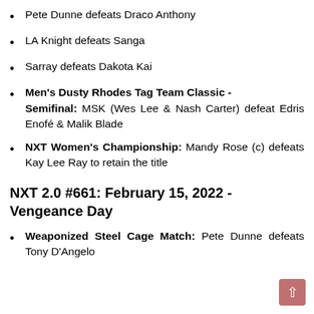Pete Dunne defeats Draco Anthony
LA Knight defeats Sanga
Sarray defeats Dakota Kai
Men's Dusty Rhodes Tag Team Classic - Semifinal: MSK (Wes Lee & Nash Carter) defeat Edris Enofé & Malik Blade
NXT Women's Championship: Mandy Rose (c) defeats Kay Lee Ray to retain the title
NXT 2.0 #661: February 15, 2022 - Vengeance Day
Weaponized Steel Cage Match: Pete Dunne defeats Tony D'Angelo